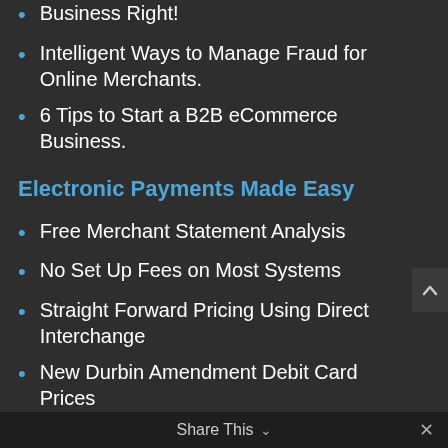Business Right!
Intelligent Ways to Manage Fraud for Online Merchants.
6 Tips to Start a B2B eCommerce Business.
Electronic Payments Made Easy
Free Merchant Statement Analysis
No Set Up Fees on Most Systems
Straight Forward Pricing Using Direct Interchange
New Durbin Amendment Debit Card Prices
All-in-One Solutions (Credit Card & ACH)
Level 3 Purchasing Card Processing
Save Time & Money
Share This